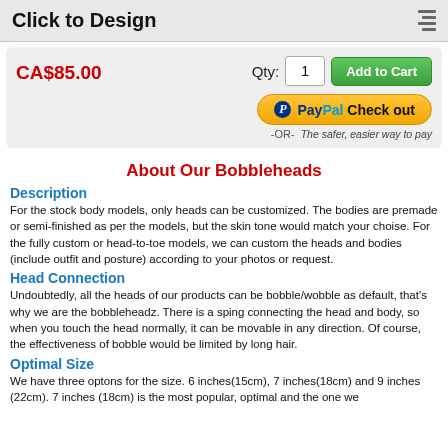Click to Design
CA$85.00
[Figure (screenshot): Add to Cart button with Qty field showing 1, and PayPal Check out button with '-OR-' and 'The safer, easier way to pay' text]
About Our Bobbleheads
Description
For the stock body models, only heads can be customized. The bodies are premade or semi-finished as per the models, but the skin tone would match your choise. For the fully custom or head-to-toe models, we can custom the heads and bodies (include outfit and posture) according to your photos or request.
Head Connection
Undoubtedly, all the heads of our products can be bobble/wobble as default, that's why we are the bobbleheadz. There is a sping connecting the head and body, so when you touch the head normally, it can be movable in any direction. Of course, the effectiveness of bobble would be limited by long hair.
Optimal Size
We have three optons for the size. 6 inches(15cm), 7 inches(18cm) and 9 inches (22cm). 7 inches (18cm) is the most popular, optimal and the one we